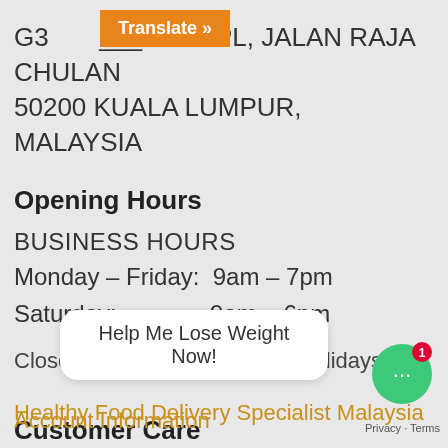[Figure (screenshot): Orange 'Translate »' button overlaid on page content]
G3_ ___, _____ MPL, JALAN RAJA CHULAN
50200 KUALA LUMPUR, MALAYSIA
Opening Hours
BUSINESS HOURS
Monday – Friday:  9am – 7pm
Saturday:              9am – 6pm
Closed on Sundays & Public Holidays
Healthy Food Delivery Specialist Malaysia
Customer Care
Help Me Lose Weight Now!
Account Information
Privacy · Terms